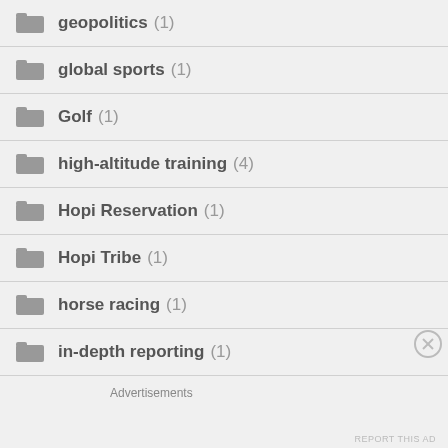geopolitics (1)
global sports (1)
Golf (1)
high-altitude training (4)
Hopi Reservation (1)
Hopi Tribe (1)
horse racing (1)
in-depth reporting (1)
Advertisements
REPORT THIS AD